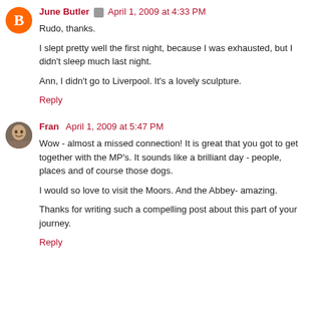June Butler  April 1, 2009 at 4:33 PM
Rudo, thanks.

I slept pretty well the first night, because I was exhausted, but I didn't sleep much last night.

Ann, I didn't go to Liverpool. It's a lovely sculpture.
Reply
Fran  April 1, 2009 at 5:47 PM
Wow - almost a missed connection! It is great that you got to get together with the MP's. It sounds like a brilliant day - people, places and of course those dogs.

I would so love to visit the Moors. And the Abbey- amazing.

Thanks for writing such a compelling post about this part of your journey.
Reply